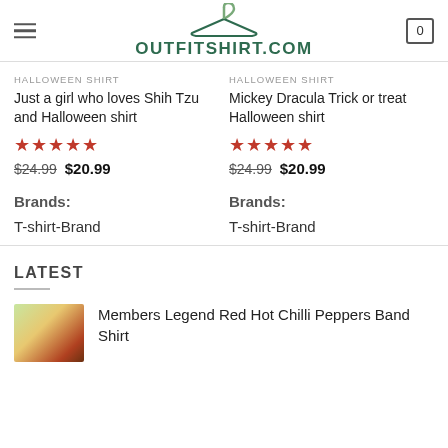OUTFITSHIRT.COM
HALLOWEEN SHIRT
Just a girl who loves Shih Tzu and Halloween shirt
★★★★★
$24.99 $20.99
Brands:
T-shirt-Brand
HALLOWEEN SHIRT
Mickey Dracula Trick or treat Halloween shirt
★★★★★
$24.99 $20.99
Brands:
T-shirt-Brand
LATEST
Members Legend Red Hot Chilli Peppers Band Shirt